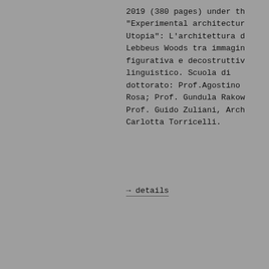2019 (380 pages) under th“Experimental architecturUtopia”: L’architettura dLebbeus Woods tra immaginfigurativa e decostruttivlinguistico. Scuola di dottorato: Prof.Agostino Rosa; Prof. Gundula RakowProf. Guido Zuliani, ArchCarlotta Torricelli.
→ details